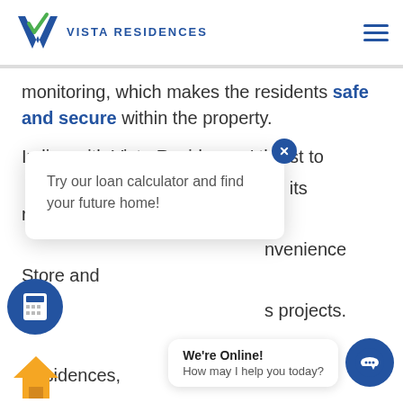Vista Residences
monitoring, which makes the residents safe and secure within the property.
In line with Vista Residences' thrust to [ng] its residents, it also [nvenience] Store and [s] projects.
on Vista Residences, mail info@vistaresidences.com.ph, ow @VistaResidencesOfficial on Facebook, Twit[ter], utube, or cal[ the marketing office at 0999
[Figure (infographic): Popup card with text: Try our loan calculator and find your future home!]
[Figure (infographic): Chat widget bubble: We're Online! How may I help you today?]